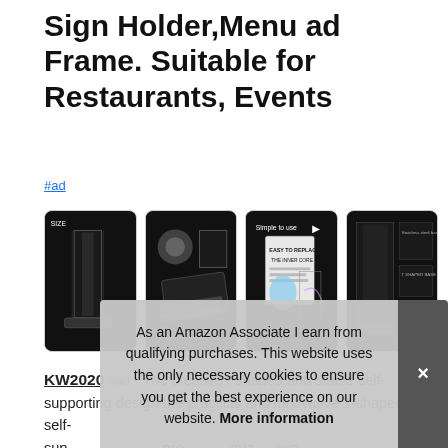Sign Holder,Menu ad Frame. Suitable for Restaurants, Events
#ad
[Figure (photo): Four product thumbnail images of an acrylic sign holder/menu ad frame shown on black backgrounds, including size reference, angle view, demonstration of paper insertion, and multi-angle product shots.]
KW2020 #ad - The creative t-shaped and stable self-supporting design-the practical and innovative T-shaped self-supporting design-the practical and innovative T-shaped self-supporting... protection... quality... excellent... clear, high-strength, is strong enough to last for many years-
As an Amazon Associate I earn from qualifying purchases. This website uses the only necessary cookies to ensure you get the best experience on our website. More information